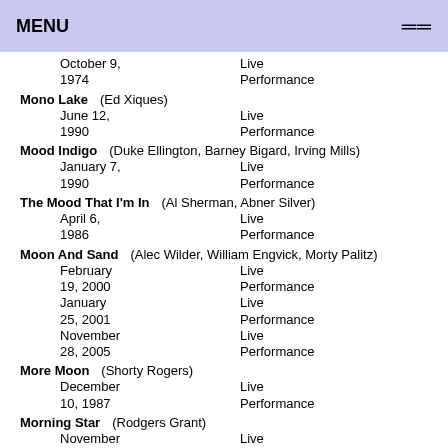MENU
October 9, 1974 — Live Performance
Mono Lake (Ed Xiques) — June 12, 1990 — Live Performance
Mood Indigo (Duke Ellington, Barney Bigard, Irving Mills) — January 7, 1990 — Live Performance
The Mood That I'm In (Al Sherman, Abner Silver) — April 6, 1986 — Live Performance
Moon And Sand (Alec Wilder, William Engvick, Morty Palitz) — February 19, 2000 — Live Performance; January 25, 2001 — Live Performance; November 28, 2005 — Live Performance
More Moon (Shorty Rogers) — December 10, 1987 — Live Performance
Morning Star (Rodgers Grant) — November — Live